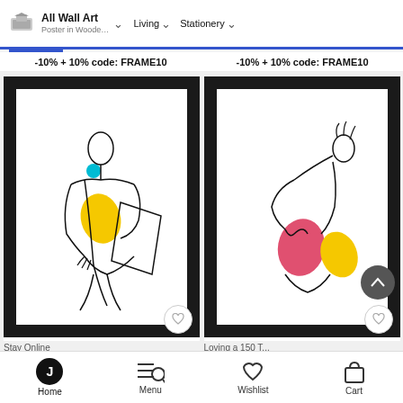All Wall Art | Poster in Woode... | Living | Stationery
-10% + 10% code: FRAME10
-10% + 10% code: FRAME10
[Figure (illustration): Line art illustration of a seated figure with a cyan dot accent and yellow shape, displayed in a black frame]
[Figure (illustration): Line art illustration of a reclining figure with pink and yellow shape accents, displayed in a black frame]
Stay Online
Loving a 150 T...
Home | Menu | Wishlist | Cart